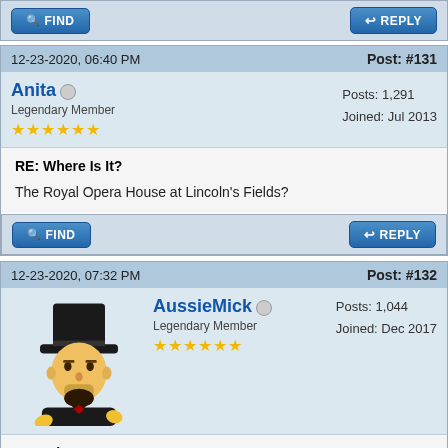[Figure (screenshot): Find button (blue pill button with magnifier icon)]
[Figure (screenshot): Reply button (blue pill button with arrow icon)]
12-23-2020, 06:40 PM
Post: #131
Anita
Legendary Member
★★★★★★
Posts: 1,291
Joined: Jul 2013
RE: Where Is It?
The Royal Opera House at Lincoln's Fields?
[Figure (screenshot): Find button (blue pill button with magnifier icon)]
[Figure (screenshot): Reply button (blue pill button with arrow icon)]
12-23-2020, 07:32 PM
Post: #132
[Figure (illustration): Avatar of AussieMick: Abraham Lincoln cartoon figure in black top hat and suit]
AussieMick
Legendary Member
★★★★★★
Posts: 1,044
Joined: Dec 2017
RE: Where Is It?
You've moved slightly away but Operetta does have a connection . Its not Venice of course, but Gondoliers also have a connection.

Churchill liked the place.